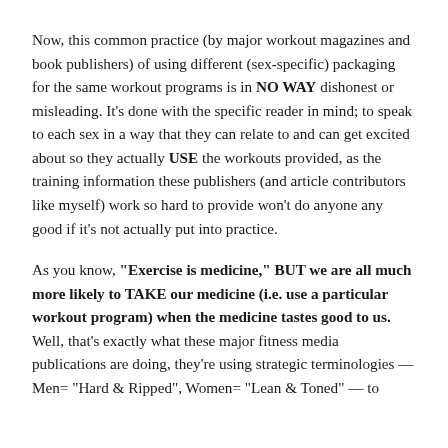Now, this common practice (by major workout magazines and book publishers) of using different (sex-specific) packaging for the same workout programs is in NO WAY dishonest or misleading. It's done with the specific reader in mind; to speak to each sex in a way that they can relate to and can get excited about so they actually USE the workouts provided, as the training information these publishers (and article contributors like myself) work so hard to provide won't do anyone any good if it's not actually put into practice.
As you know, "Exercise is medicine," BUT we are all much more likely to TAKE our medicine (i.e. use a particular workout program) when the medicine tastes good to us. Well, that's exactly what these major fitness media publications are doing, they're using strategic terminologies — Men= "Hard & Ripped", Women= "Lean & Toned" — to